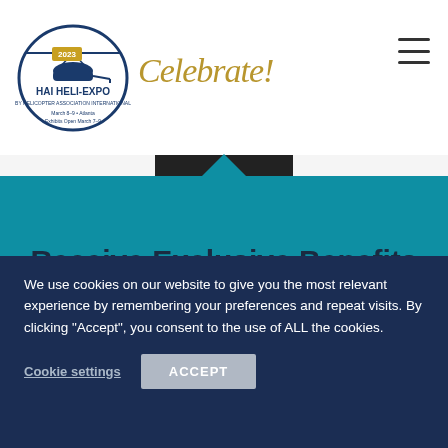[Figure (logo): 2023 HAI HELI-EXPO by Helicopter Association International logo. March 8-9 Atlanta, Exhibits Open March 7-9. With cursive gold 'Celebrate!' text.]
Receive Exclusive Benefits with an HAI Membership
We use cookies on our website to give you the most relevant experience by remembering your preferences and repeat visits. By clicking “Accept”, you consent to the use of ALL the cookies.
Cookie settings   ACCEPT